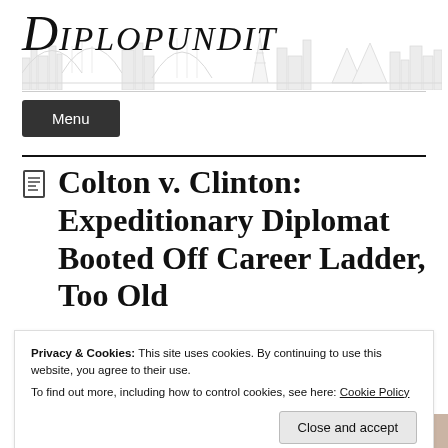Diplopundit
Menu
Colton v. Clinton: Expeditionary Diplomat Booted Off Career Ladder, Too Old
Privacy & Cookies: This site uses cookies. By continuing to use this website, you agree to their use.
To find out more, including how to control cookies, see here: Cookie Policy
Close and accept
Court, Again